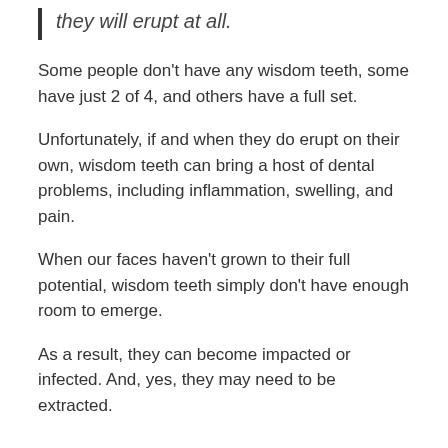they will erupt at all.
Some people don't have any wisdom teeth, some have just 2 of 4, and others have a full set.
Unfortunately, if and when they do erupt on their own, wisdom teeth can bring a host of dental problems, including inflammation, swelling, and pain.
When our faces haven't grown to their full potential, wisdom teeth simply don't have enough room to emerge.
As a result, they can become impacted or infected. And, yes, they may need to be extracted.
What do wisdom teeth look like?